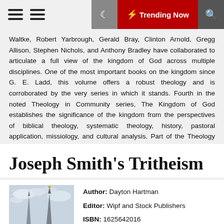☰ ☰  🌙  ⚡ Trending Now  🔍
Waltke, Robert Yarbrough, Gerald Bray, Clinton Arnold, Gregg Allison, Stephen Nichols, and Anthony Bradley have collaborated to articulate a full view of the kingdom of God across multiple disciplines. One of the most important books on the kingdom since G. E. Ladd, this volume offers a robust theology and is corroborated by the very series in which it stands. Fourth in the noted Theology in Community series, The Kingdom of God establishes the significance of the kingdom from the perspectives of biblical theology, systematic theology, history, pastoral application, missiology, and cultural analysis. Part of the Theology in Community series.
Joseph Smith's Tritheism
[Figure (photo): Photo of a church or temple spire with a golden angel statue at the top against a cloudy sky]
Author: Dayton Hartman
Editor: Wipf and Stock Publishers
ISBN: 1625642016
FileSize: 1926kb